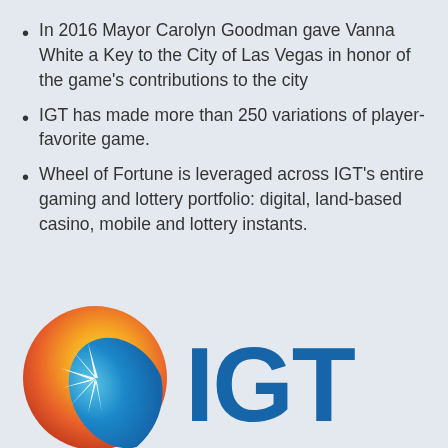In 2016 Mayor Carolyn Goodman gave Vanna White a Key to the City of Las Vegas in honor of the game's contributions to the city
IGT has made more than 250 variations of player-favorite game.
Wheel of Fortune is leveraged across IGT's entire gaming and lottery portfolio: digital, land-based casino, mobile and lottery instants.
[Figure (logo): IGT company logo with a circular sun/leaf graphic in yellow, orange, and blue gradient on the left, and the letters 'IGT' in bold blue on the right]